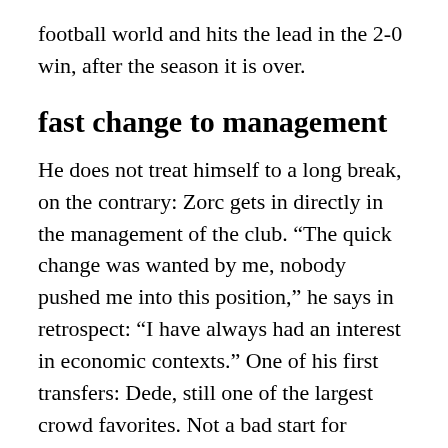football world and hits the lead in the 2-0 win, after the season it is over.
fast change to management
He does not treat himself to a long break, on the contrary: Zorc gets in directly in the management of the club. “The quick change was wanted by me, nobody pushed me into this position,” he says in retrospect: “I have always had an interest in economic contexts.” One of his first transfers: Dede, still one of the largest crowd favorites. Not a bad start for someone who says today: “I was an apprentice in the first few years.”
He had to learn quickly, because the club’s most severe